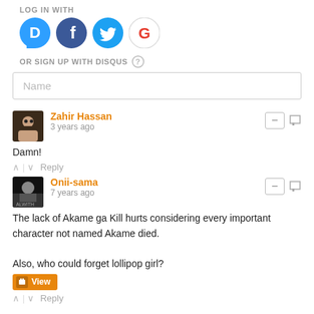LOG IN WITH
[Figure (infographic): Four social login buttons: Disqus (blue circle with D), Facebook (dark blue circle with f), Twitter (light blue circle with bird), Google (white circle with G)]
OR SIGN UP WITH DISQUS ?
Name
Zahir Hassan
3 years ago
Damn!
Onii-sama
7 years ago
The lack of Akame ga Kill hurts considering every important character not named Akame died.

Also, who could forget lollipop girl?